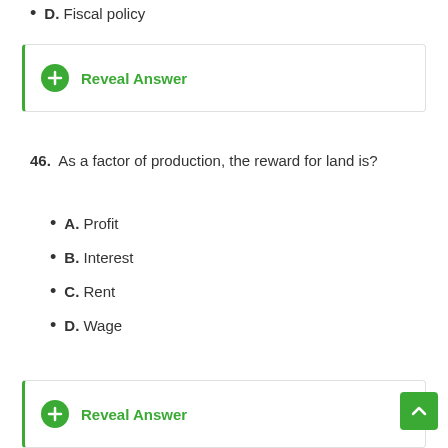D. Fiscal policy
Reveal Answer
46. As a factor of production, the reward for land is?
A. Profit
B. Interest
C. Rent
D. Wage
Reveal Answer